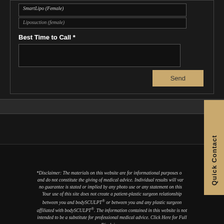SmartLipo (Female)
Liposuction (Female)
Best Time to Call *
Send
Quick Contact
*Disclaimer: The materials on this website are for informational purposes only and do not constitute the giving of medical advice. Individual results will vary, no guarantee is stated or implied by any photo use or any statement on this site. Your use of this site does not create a patient-plastic surgeon relationship between you and bodySCULPT® or between you and any plastic surgeon affiliated with bodySCULPT®. The information contained in this website is not intended to be a substitute for professional medical advice. Click Here for Full Disclaimer.
Copyright © 2022 body SCULPT®. All Rights Reserved. Website Design / SEO by